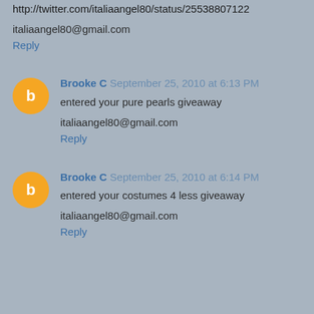http://twitter.com/italiaangel80/status/25538807122
italiaangel80@gmail.com
Reply
Brooke C September 25, 2010 at 6:13 PM
entered your pure pearls giveaway
italiaangel80@gmail.com
Reply
Brooke C September 25, 2010 at 6:14 PM
entered your costumes 4 less giveaway
italiaangel80@gmail.com
Reply